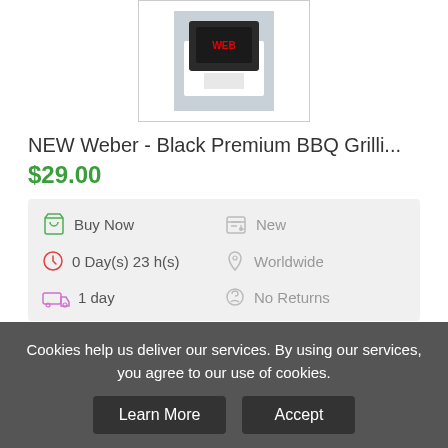[Figure (photo): Product image of Weber Black Premium BBQ Grilling accessory box, partially cropped at top]
NEW Weber - Black Premium BBQ Grilli...
$29.00
Buy Now | New | 0 Day(s) 23 h(s) | Worldwide | 1 day | No Returns
Buy Now (button)
[Figure (photo): Second product image partially visible at bottom]
Cookies help us deliver our services. By using our services, you agree to our use of cookies.
Learn More | Accept